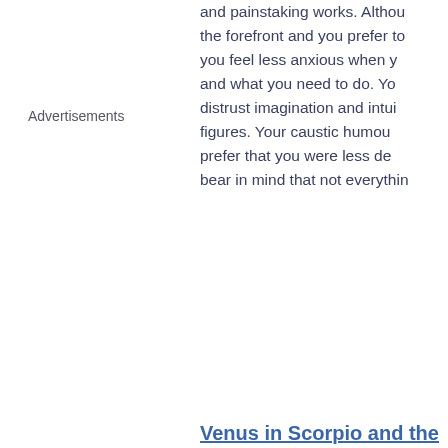Advertisements
and painstaking works. Although the forefront and you prefer to you feel less anxious when y and what you need to do. Yo distrust imagination and intui figures. Your caustic humour prefer that you were less de bear in mind that not everythin
Venus in Scorpio and the seductiveness
In your chart, the Sun is in V and Scorpio, the keywords ar realm. Nothing and no one predestined to (Sun in Virgo), Virgo's cautious and cold res equally specific character. In y to your relationship. Nothing course of events under y associated with an unparalle